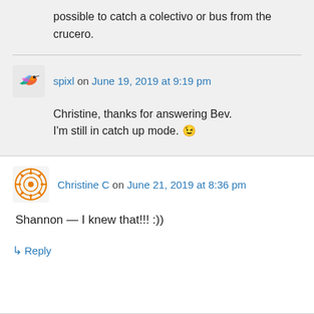possible to catch a colectivo or bus from the crucero.
spixl on June 19, 2019 at 9:19 pm
Christine, thanks for answering Bev. I'm still in catch up mode. 😉
Christine C on June 21, 2019 at 8:36 pm
Shannon — I knew that!!! :))
↳ Reply